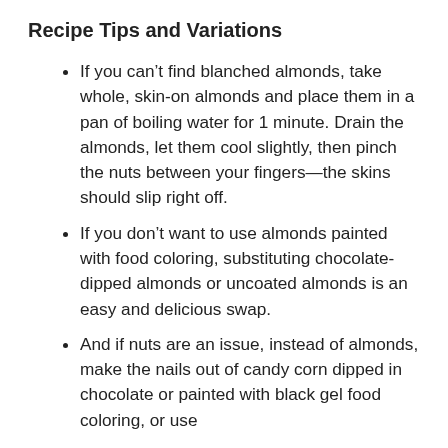Recipe Tips and Variations
If you can't find blanched almonds, take whole, skin-on almonds and place them in a pan of boiling water for 1 minute. Drain the almonds, let them cool slightly, then pinch the nuts between your fingers—the skins should slip right off.
If you don't want to use almonds painted with food coloring, substituting chocolate-dipped almonds or uncoated almonds is an easy and delicious swap.
And if nuts are an issue, instead of almonds, make the nails out of candy corn dipped in chocolate or painted with black gel food coloring, or use